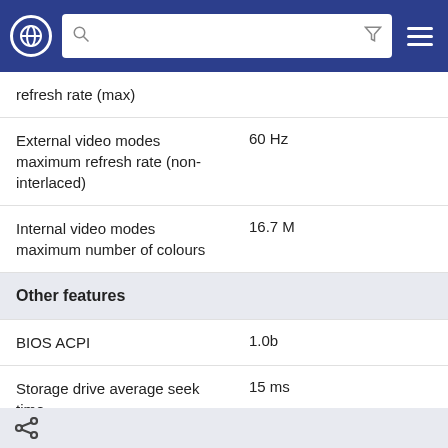Navigation bar with globe, search, filter and hamburger menu
| Feature | Value |
| --- | --- |
| refresh rate (max) |  |
| External video modes maximum refresh rate (non-interlaced) | 60 Hz |
| Internal video modes maximum number of colours | 16.7 M |
| Other features |  |
| BIOS ACPI | 1.0b |
| Storage drive average seek time | 15 ms |
| Dimensions (WxDxH) | 289 x 229 x 14.9 mm |
| HDD number of heads | 4 |
| Drive device, buffer size | 0.5 MB |
| Internal video mode, resolution | 1.024 x 768 pixels |
Share icon